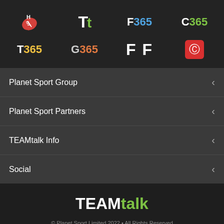[Figure (logo): Grid of app/brand logos: football icon, Tt, F365, C365, T365, G365, FF, copyright red box]
Planet Sport Group <
Planet Sport Partners <
TEAMtalk Info <
Social <
TEAMtalk
© Planet Sport Limited 2022 • All Rights Reserved